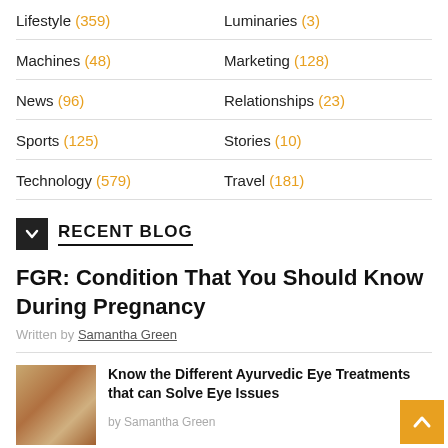Lifestyle (359)
Luminaries (3)
Machines (48)
Marketing (128)
News (96)
Relationships (23)
Sports (125)
Stories (10)
Technology (579)
Travel (181)
RECENT BLOG
FGR: Condition That You Should Know During Pregnancy
Written by Samantha Green
Know the Different Ayurvedic Eye Treatments that can Solve Eye Issues
by Samantha Green